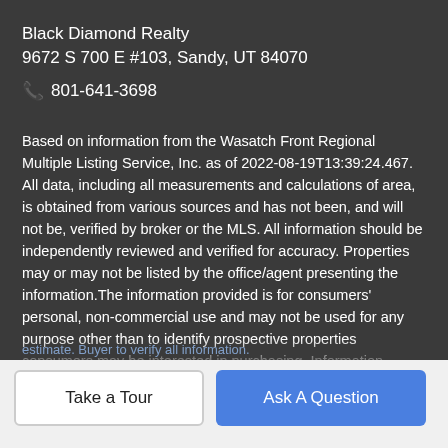Black Diamond Realty
9672 S 700 E #103, Sandy, UT 84070
📞 801-641-3698
Based on information from the Wasatch Front Regional Multiple Listing Service, Inc. as of 2022-08-19T13:39:24.467. All data, including all measurements and calculations of area, is obtained from various sources and has not been, and will not be, verified by broker or the MLS. All information should be independently reviewed and verified for accuracy. Properties may or may not be listed by the office/agent presenting the information.The information provided is for consumers' personal, non-commercial use and may not be used for any purpose other than to identify prospective properties consumers may be interested in purchasing. Information deemed reliable but not guaranteed
Take a Tour
Ask A Question